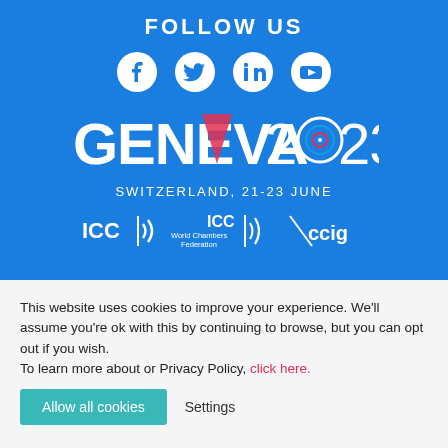FOLLOW US
[Figure (illustration): Social media icons: Facebook, Twitter, LinkedIn, YouTube in white on blue background]
[Figure (logo): GENEVA2023 event logo with SWITZERLAND, 21-23 JUNE text]
[Figure (logo): Partner logos: ICC, ICC World Chambers Federation, CCIG]
This website uses cookies to improve your experience. We'll assume you're ok with this by continuing to browse, but you can opt out if you wish. To learn more about or Privacy Policy, click here.
Allow all cookies
Settings